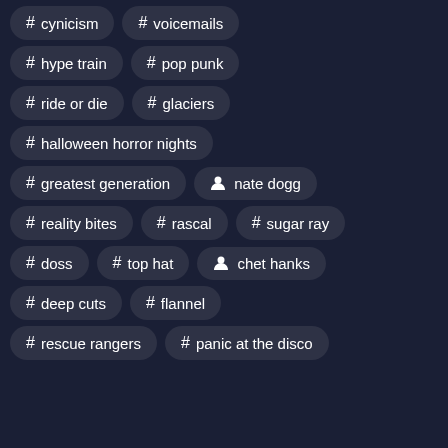# cynicism
# voicemails
# hype train
# pop punk
# ride or die
# glaciers
# halloween horror nights
# greatest generation
person nate dogg
# reality bites
# rascal
# sugar ray
# doss
# top hat
person chet hanks
# deep cuts
# flannel
# rescue rangers
# panic at the disco